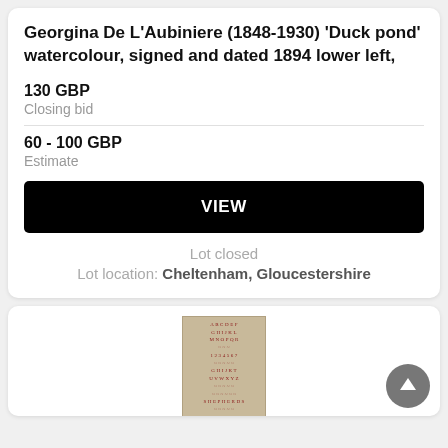Georgina De L'Aubiniere (1848-1930) 'Duck pond' watercolour, signed and dated 1894 lower left,
130 GBP
Closing bid
60 - 100 GBP
Estimate
VIEW
Lot closed
Lot location: Cheltenham, Gloucestershire
[Figure (photo): Antique needlework sampler with red embroidered text and decorative elements on a beige/tan fabric background. Text includes 'Mary Johnson 11 Years of Age September 22nd']